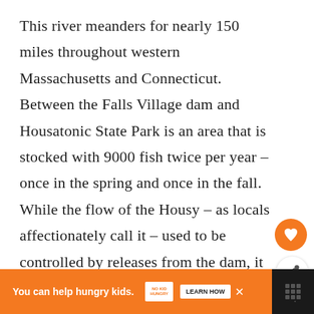This river meanders for nearly 150 miles throughout western Massachusetts and Connecticut. Between the Falls Village dam and Housatonic State Park is an area that is stocked with 9000 fish twice per year – once in the spring and once in the fall. While the flow of the Housy – as locals affectionately call it – used to be controlled by releases from the dam, it is now a natural flow river which means the trout are more evenly distributed and the waters are much more hospitable to anglers.
[Figure (other): Orange circular heart/like button and share button overlay on right side of page]
[Figure (other): What's Next panel showing thumbnail image and text 'Pricing Plans · DIY Fly...']
[Figure (other): Orange advertisement bar at bottom: 'You can help hungry kids.' with No Kid Hungry logo and Learn How button]